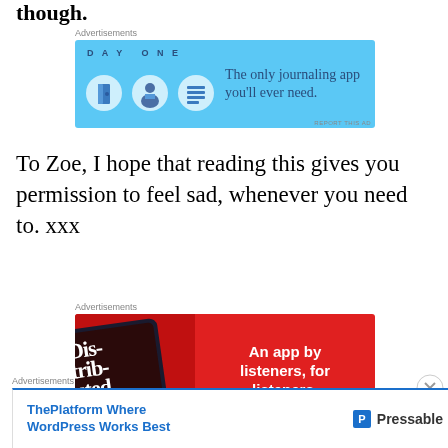though.
[Figure (other): DayOne advertisement: The only journaling app you'll ever need.]
To Zoe, I hope that reading this gives you permission to feel sad, whenever you need to. xxx
[Figure (other): Distributed app advertisement: An app by listeners, for listeners. Download now.]
[Figure (other): Pressable advertisement: ThePlatform Where WordPress Works Best]